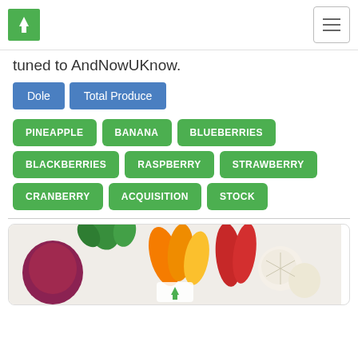AndNowUKnow logo and navigation
tuned to AndNowUKnow.
Dole
Total Produce
PINEAPPLE
BANANA
BLUEBERRIES
BLACKBERRIES
RASPBERRY
STRAWBERRY
CRANBERRY
ACQUISITION
STOCK
[Figure (photo): Photo of assorted vegetables including red onion, peppers, garlic and herbs on a light background, with AndNowUKnow logo overlay]